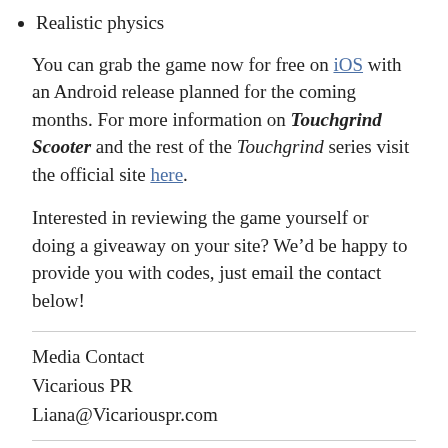Realistic physics
You can grab the game now for free on iOS with an Android release planned for the coming months. For more information on Touchgrind Scooter and the rest of the Touchgrind series visit the official site here.
Interested in reviewing the game yourself or doing a giveaway on your site? We’d be happy to provide you with codes, just email the contact below!
Media Contact
Vicarious PR
Liana@Vicariouspr.com
About Illusion Labs